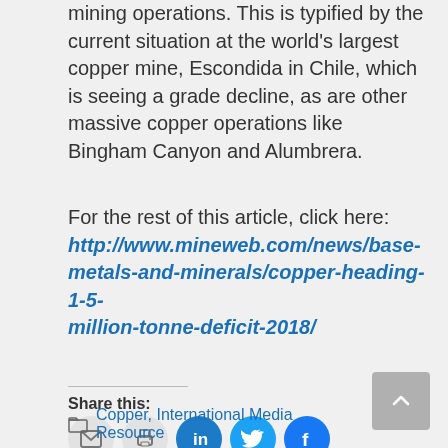mining operations. This is typified by the current situation at the world's largest copper mine, Escondida in Chile, which is seeing a grade decline, as are other massive copper operations like Bingham Canyon and Alumbrera.
For the rest of this article, click here: http://www.mineweb.com/news/base-metals-and-minerals/copper-heading-1-5-million-tonne-deficit-2018/
Share this:
[Figure (infographic): Social share icons: email (gray), print (gray), LinkedIn (blue), Twitter (blue), Facebook (blue)]
Copper, International Media Resource